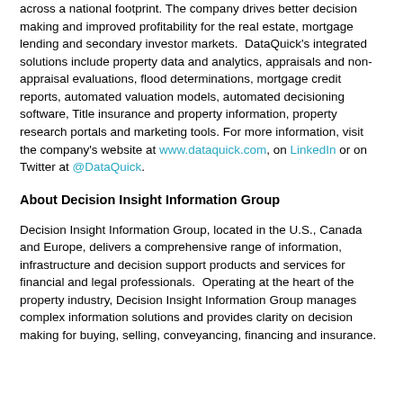across a national footprint. The company drives better decision making and improved profitability for the real estate, mortgage lending and secondary investor markets.  DataQuick's integrated solutions include property data and analytics, appraisals and non-appraisal evaluations, flood determinations, mortgage credit reports, automated valuation models, automated decisioning software, Title insurance and property information, property research portals and marketing tools. For more information, visit the company's website at www.dataquick.com, on LinkedIn or on Twitter at @DataQuick.
About Decision Insight Information Group
Decision Insight Information Group, located in the U.S., Canada and Europe, delivers a comprehensive range of information, infrastructure and decision support products and services for financial and legal professionals.  Operating at the heart of the property industry, Decision Insight Information Group manages complex information solutions and provides clarity on decision making for buying, selling, conveyancing, financing and insurance.